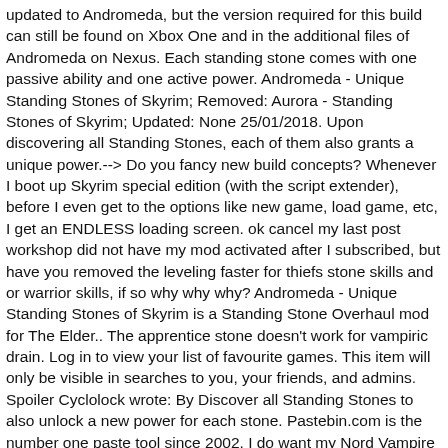updated to Andromeda, but the version required for this build can still be found on Xbox One and in the additional files of Andromeda on Nexus. Each standing stone comes with one passive ability and one active power. Andromeda - Unique Standing Stones of Skyrim; Removed: Aurora - Standing Stones of Skyrim; Updated: None 25/01/2018. Upon discovering all Standing Stones, each of them also grants a unique power.--> Do you fancy new build concepts? Whenever I boot up Skyrim special edition (with the script extender), before I even get to the options like new game, load game, etc, I get an ENDLESS loading screen. ok cancel my last post workshop did not have my mod activated after I subscribed, but have you removed the leveling faster for thiefs stone skills and or warrior skills, if so why why why? Andromeda - Unique Standing Stones of Skyrim is a Standing Stone Overhaul mod for The Elder.. The apprentice stone doesn't work for vampiric drain. Log in to view your list of favourite games. This item will only be visible in searches to you, your friends, and admins. Spoiler Cyclolock wrote: By Discover all Standing Stones to also unlock a new power for each stone. Pastebin.com is the number one paste tool since 2002. I do want my Nord Vampire Spellsword to eventually go Lord Stone for role-playing purposes. Aurora Standing Stones-Changes the effects of the Standing Stones. I have already tried a few tips I read on other questions...